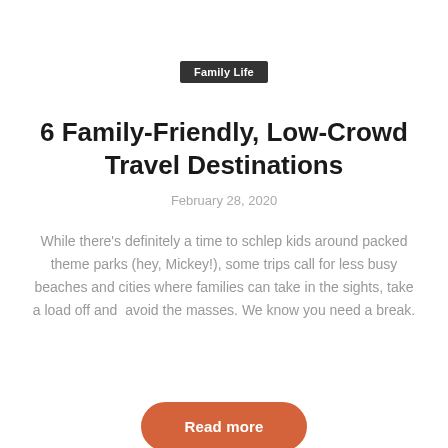Family Life
6 Family-Friendly, Low-Crowd Travel Destinations
February 28, 2020
While there's definitely a time to schlep kids around packed theme parks (hey, Mickey!), some trips call for less busy beaches and cities where families can take in the sights, take a load off and  avoid the masses. We know you need a break.
Read more